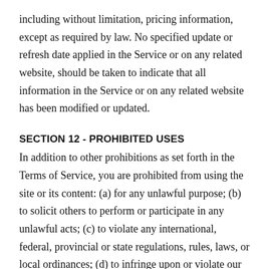including without limitation, pricing information, except as required by law. No specified update or refresh date applied in the Service or on any related website, should be taken to indicate that all information in the Service or on any related website has been modified or updated.
SECTION 12 - PROHIBITED USES
In addition to other prohibitions as set forth in the Terms of Service, you are prohibited from using the site or its content: (a) for any unlawful purpose; (b) to solicit others to perform or participate in any unlawful acts; (c) to violate any international, federal, provincial or state regulations, rules, laws, or local ordinances; (d) to infringe upon or violate our intellectual property rights or the intellectual property rights of others; (e) to harass,